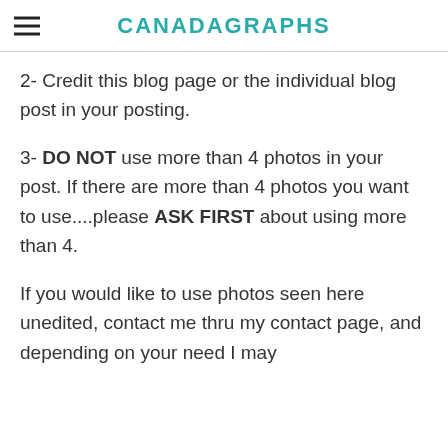CANADAGRAPHS
2- Credit this blog page or the individual blog post in your posting.
3- DO NOT use more than 4 photos in your post. If there are more than 4 photos you want to use....please ASK FIRST about using more than 4.
If you would like to use photos seen here unedited, contact me thru my contact page, and depending on your need I may